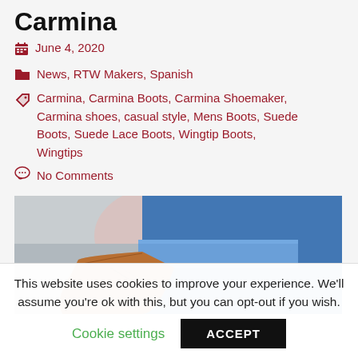Carmina
June 4, 2020
News, RTW Makers, Spanish
Carmina, Carmina Boots, Carmina Shoemaker, Carmina shoes, casual style, Mens Boots, Suede Boots, Suede Lace Boots, Wingtip Boots, Wingtips
No Comments
[Figure (photo): Close-up photo of brown suede wingtip lace boots worn with cuffed denim jeans, street style photography]
This website uses cookies to improve your experience. We'll assume you're ok with this, but you can opt-out if you wish.
Cookie settings  ACCEPT